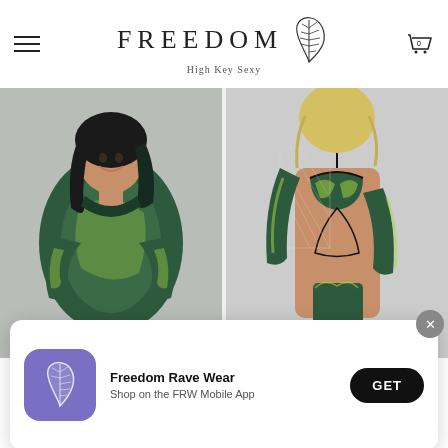FREEDOM High Key Sexy
[Figure (photo): Woman wearing green and teal patterned one-piece bodysuit with long sleeves, posing against a light gray background]
[Figure (photo): Close-up of model wearing green patterned bikini top and matching arm sleeves with fishnet overlay and black strappy details]
[Figure (screenshot): App download banner popup with purple icon showing feather logo, text 'Freedom Rave Wear / Shop on the FRW Mobile App', black GET button, and X close button]
One Piece - Green